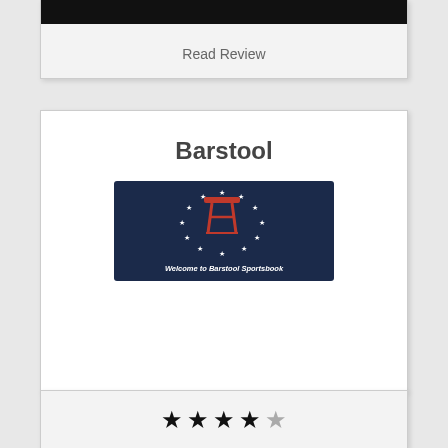Read Review
Barstool
[Figure (logo): Barstool Sportsbook logo on dark navy background with barstool icon surrounded by stars and text 'Welcome to Barstool Sportsbook']
[Figure (other): 4 out of 5 stars rating]
REVIEW
Read Review